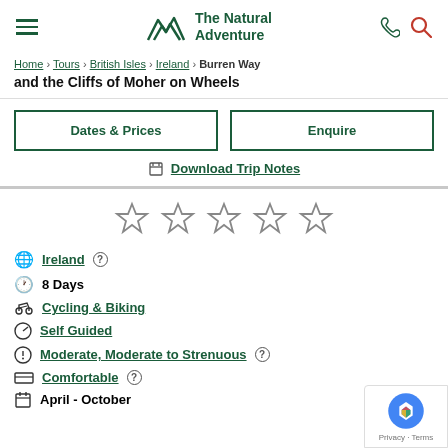The Natural Adventure
Home > Tours > British Isles > Ireland > Burren Way and the Cliffs of Moher on Wheels
Dates & Prices | Enquire
Download Trip Notes
[Figure (other): Five empty star rating icons]
Ireland
8 Days
Cycling & Biking
Self Guided
Moderate, Moderate to Strenuous
Comfortable
April - October